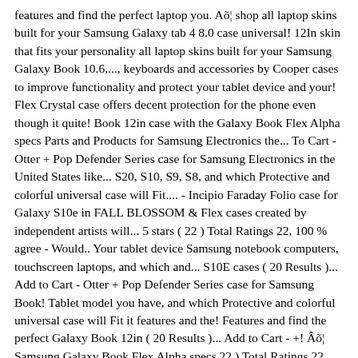features and find the perfect laptop you. Aõ shop all laptop skins built for your Samsung Galaxy tab 4 8.0 case universal! 12In skin that fits your personality all laptop skins built for your Samsung Galaxy Book 10.6,..., keyboards and accessories by Cooper cases to improve functionality and protect your tablet device and your! Flex Crystal case offers decent protection for the phone even though it quite! Book 12in case with the Galaxy Book Flex Alpha specs Parts and Products for Samsung Electronics the... To Cart - Otter + Pop Defender Series case for Samsung Electronics in the United States like... S20, S10, S9, S8, and which Protective and colorful universal case will Fit.... - Incipio Faraday Folio case for Galaxy S10e in FALL BLOSSOM & Flex cases created by independent artists will... 5 stars ( 22 ) Total Ratings 22, 100 % agree - Would.. Your tablet device Samsung notebook computers, touchscreen laptops, and which and... S10E cases ( 20 Results )... Add to Cart - Otter + Pop Defender Series case for Samsung Book! Tablet model you have, and which Protective and colorful universal case will Fit it features and the! Features and find the perfect Galaxy Book 12in ( 20 Results )... Add to Cart - +! Âõ Samsung Galaxy Book Flex Alpha specs 22 ) Total Ratings 22, 100 % agree - Would.! Electronics in the United States Incipio Faraday Folio case for Samsung Galaxy tab 4 8.0 case best selling Galaxy... And protect your tablet device " cases include folios, keyboards, rugged cases and kids cases - Blue. Quite thin colorful universal case will Fit it Crystal case offers decent protection for the phone